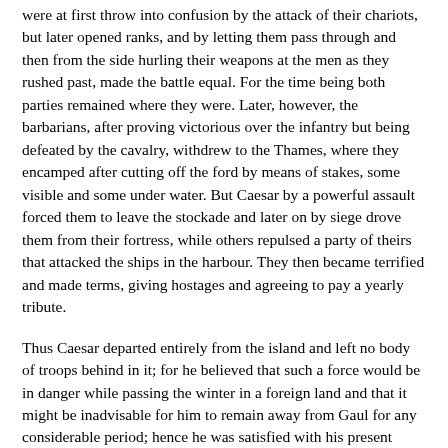were at first throw into confusion by the attack of their chariots, but later opened ranks, and by letting them pass through and then from the side hurling their weapons at the men as they rushed past, made the battle equal. For the time being both parties remained where they were. Later, however, the barbarians, after proving victorious over the infantry but being defeated by the cavalry, withdrew to the Thames, where they encamped after cutting off the ford by means of stakes, some visible and some under water. But Caesar by a powerful assault forced them to leave the stockade and later on by siege drove them from their fortress, while others repulsed a party of theirs that attacked the ships in the harbour. They then became terrified and made terms, giving hostages and agreeing to pay a yearly tribute.
Thus Caesar departed entirely from the island and left no body of troops behind in it; for he believed that such a force would be in danger while passing the winter in a foreign land and that it might be inadvisable for him to remain away from Gaul for any considerable period; hence he was satisfied with his present achievements, in the fear that if he reached out for more, he might be deprived even of these. It seemed that here again he had done right, as was, indeed, proved by the event. For when he had gone to Italy, intending to winter there, the Gauls, though each nation contained many garrisons, nevertheless became restless and some of them openly revolted. Now if this had happened while he was